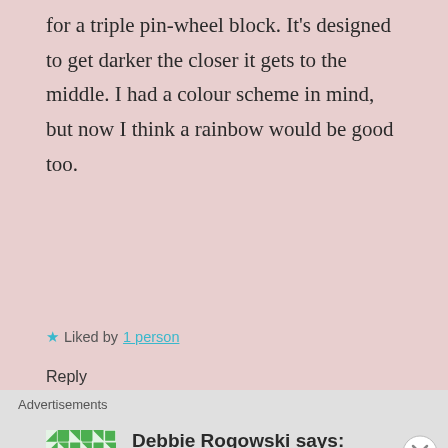for a triple pin-wheel block. It's designed to get darker the closer it gets to the middle. I had a colour scheme in mind, but now I think a rainbow would be good too.
★ Liked by 1 person
Reply
Debbie Rogowski says: August 3, 2015 at 1:54 am
Advertisements